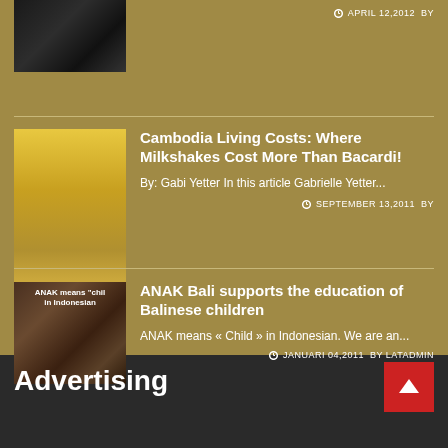[Figure (photo): Dark image, partial top of article with barbed wire or crowd scene]
APRIL 12, 2012  BY
[Figure (photo): Supermarket aisle with shelves of drinks/bottles]
Cambodia Living Costs: Where Milkshakes Cost More Than Bacardi!
By: Gabi Yetter In this article Gabrielle Yetter...
SEPTEMBER 13, 2011  BY
[Figure (photo): ANAK means child in Indonesian - children raising hands]
ANAK Bali supports the education of Balinese children
ANAK means « Child » in Indonesian. We are an...
JANUARI 04, 2011  BY LATADMIN
Advertising